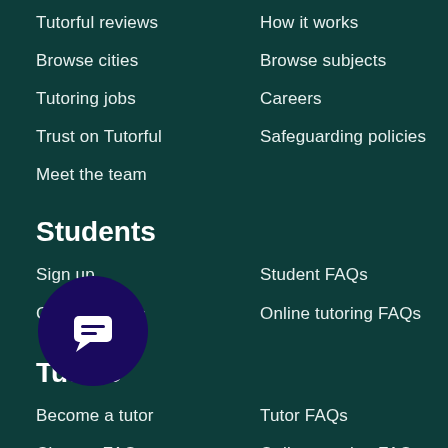Tutorful reviews
How it works
Browse cities
Browse subjects
Tutoring jobs
Careers
Trust on Tutorful
Safeguarding policies
Meet the team
Students
Sign up
Student FAQs
Classes FAQs
Online tutoring FAQs
Tutors
Become a tutor
Tutor FAQs
Classes FAQs
Online tutoring FAQs
[Figure (illustration): Dark purple circular chat bubble icon with a message/text icon inside]